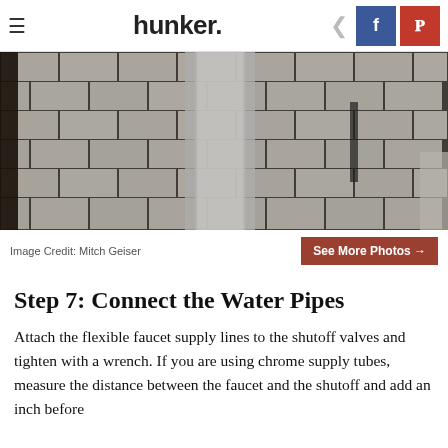hunker
[Figure (photo): Photo of a white porcelain pedestal sink base against white subway tile wall in a bathroom, dark grout lines visible, dark wood framing on left side.]
Image Credit: Mitch Geiser
Step 7: Connect the Water Pipes
Attach the flexible faucet supply lines to the shutoff valves and tighten with a wrench. If you are using chrome supply tubes, measure the distance between the faucet and the shutoff and add an inch before